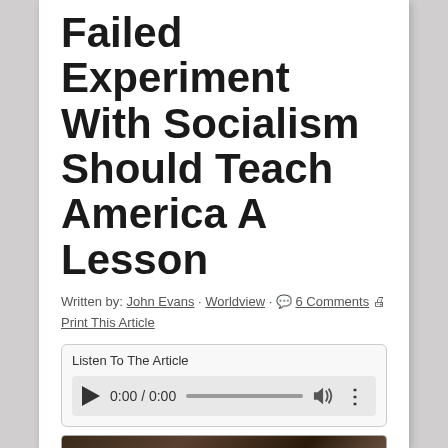Failed Experiment With Socialism Should Teach America A Lesson
Written by: John Evans · Worldview · 6 Comments 🖨 Print This Article
[Figure (screenshot): Audio player widget showing 'Listen To The Article' label with play button, time display 0:00 / 0:00, progress bar, volume icon, and menu dots]
[Figure (photo): Dark-toned painting or photograph depicting an industrial or historical scene with dark browns and a glimpse of blue in the lower right corner]